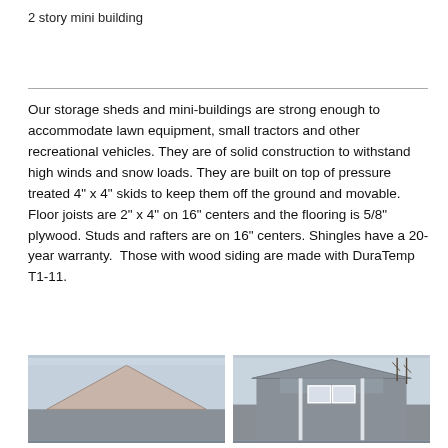2 story mini building
Our storage sheds and mini-buildings are strong enough to accommodate lawn equipment, small tractors and other recreational vehicles. They are of solid construction to withstand high winds and snow loads. They are built on top of pressure treated 4" x 4" skids to keep them off the ground and movable. Floor joists are 2" x 4" on 16" centers and the flooring is 5/8" plywood. Studs and rafters are on 16" centers. Shingles have a 20-year warranty.  Those with wood siding are made with DuraTemp T1-11.
[Figure (photo): Photo of a storage shed roof, gray siding, pink/beige shingles visible, overcast sky]
[Figure (photo): Photo of a two-story mini building with gray siding, white trim, two windows, overcast sky with bare trees]